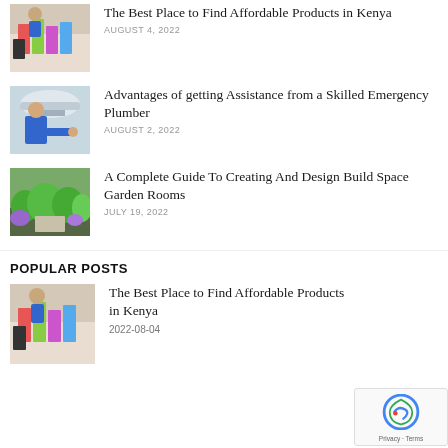[Figure (photo): Shopping bags and person thumbnail]
The Best Place to Find Affordable Products in Kenya
AUGUST 4, 2022
[Figure (photo): Plumber working under sink thumbnail]
Advantages of getting Assistance from a Skilled Emergency Plumber
AUGUST 2, 2022
[Figure (photo): Garden room outdoor space thumbnail]
A Complete Guide To Creating And Design Build Space Garden Rooms
JULY 19, 2022
POPULAR POSTS
[Figure (photo): Shopping bags and person thumbnail]
The Best Place to Find Affordable Products in Kenya
2022-08-04